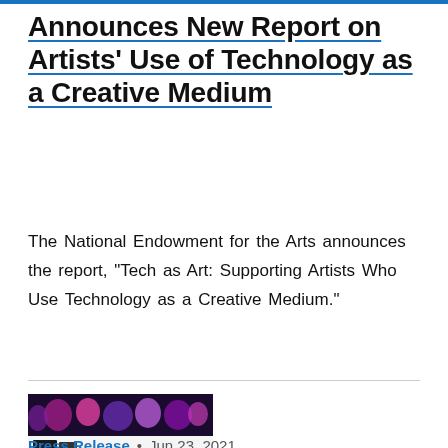Announces New Report on Artists' Use of Technology as a Creative Medium
The National Endowment for the Arts announces the report, "Tech as Art: Supporting Artists Who Use Technology as a Creative Medium."
[Figure (screenshot): Screenshot of a webpage showing an image of colorful flowers at top, and a banner that says 'Apply for American Rescue Plan grants — Rebuilding the Creative Community', with a row of colorful portrait photos at the bottom.]
Press Release • Jun 23, 2021